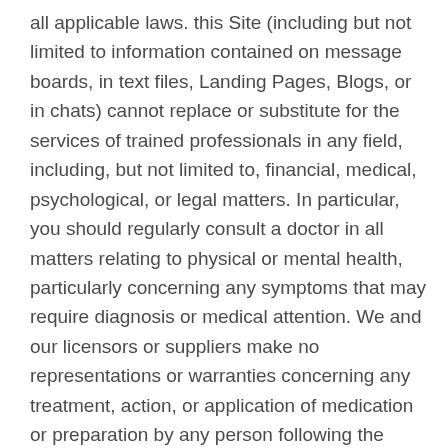all applicable laws. this Site (including but not limited to information contained on message boards, in text files, Landing Pages, Blogs, or in chats) cannot replace or substitute for the services of trained professionals in any field, including, but not limited to, financial, medical, psychological, or legal matters. In particular, you should regularly consult a doctor in all matters relating to physical or mental health, particularly concerning any symptoms that may require diagnosis or medical attention. We and our licensors or suppliers make no representations or warranties concerning any treatment, action, or application of medication or preparation by any person following the information offered or provided within or through the Sites. You must consult with your own doctors in determining if the methodologies suggested on this Site are appropriate for you and your conditions.